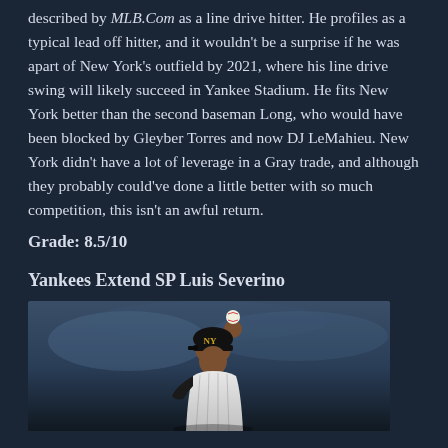described by MLB.Com as a line drive hitter. He profiles as a typical lead off hitter, and it wouldn't be a surprise if he was apart of New York's outfield by 2021, where his line drive swing will likely succeed in Yankee Stadium. He fits New York better than the second baseman Long, who would have been blocked by Gleyber Torres and now DJ LeMahieu. New York didn't have a lot of leverage in a Gray trade, and although they probably could've done a little better with so much competition, this isn't an awful return.
Grade: 8.5/10
Yankees Extend SP Luis Severino
[Figure (photo): Photo of Luis Severino in Yankees pinstripe uniform in pitching motion, wearing a black cap with NY logo, holding a baseball]